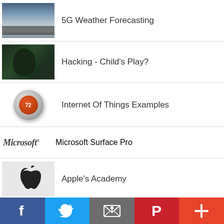5G Weather Forecasting
Hacking - Child's Play?
Internet Of Things Examples
Microsoft Surface Pro
Apple's Academy
Connected Dogs!
[Figure (other): Social sharing bar with Facebook, Twitter, Email, Pinterest, and More buttons]